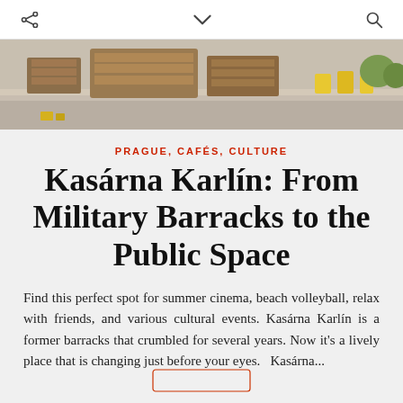Share | Chevron down | Search
[Figure (photo): Outdoor area of Kasárna Karlín showing wooden pallets, concrete ground, and yellow chairs in background]
PRAGUE, CAFÉS, CULTURE
Kasárna Karlín: From Military Barracks to the Public Space
Find this perfect spot for summer cinema, beach volleyball, relax with friends, and various cultural events. Kasárna Karlín is a former barracks that crumbled for several years. Now it's a lively place that is changing just before your eyes.  Kasárna...